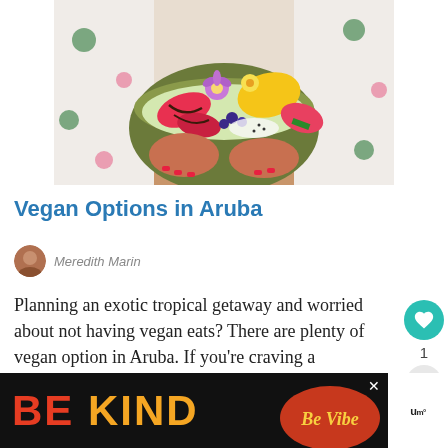[Figure (photo): Person holding a bowl of colorful tropical fruits including dragon fruit, strawberries, mango, and edible flowers]
Vegan Options in Aruba
Meredith Marin
Planning an exotic tropical getaway and worried about not having vegan eats? There are plenty of vegan option in Aruba. If you're craving a
[Figure (infographic): Advertisement banner reading BE KIND with decorative script logo and brand mark, with close button]